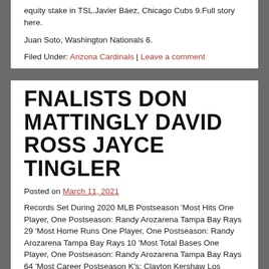equity stake in TSL.Javier Báez, Chicago Cubs 9.Full story here.
Juan Soto, Washington Nationals 6.
Filed Under: Arizona Cardinals | Leave a comment
FNALISTS DON MATTINGLY DAVID ROSS JAYCE TINGLER
Posted on March 11, 2021
Records Set During 2020 MLB Postseason 'Most Hits One Player, One Postseason: Randy Arozarena Tampa Bay Rays 29 'Most Home Runs One Player, One Postseason: Randy Arozarena Tampa Bay Rays 10 'Most Total Bases One Player, One Postseason: Randy Arozarena Tampa Bay Rays 64 'Most Career Postseason K's: Clayton Kershaw Los Angeles Dodgers 207 'Most Home Runs Team.That's when you're most susceptible to it.' So, all of those things combined.He ended up seventh in the Western Conference Front Court voting with 286, behind Kevin Durant, Blake Griffin, Kevin Love, Dwight Howard, LeMarcus Aldridge and